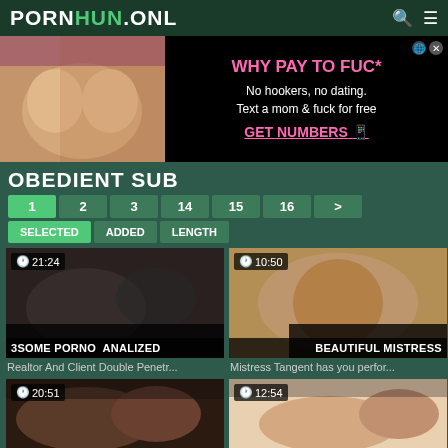PORNHUN.ONL
[Figure (screenshot): Adult advertisement banner with image on left and text on right: WHY PAY TO FUCK, No hookers, no dating. Text a mom & fuck for free, GET NUMBERS]
OBEDIENT SUB
Pagination: 1 2 3 14 15 16 >
Filters: SELECTED ADDED LENGTH
[Figure (screenshot): Video thumbnail showing duration 21:24, tags: 3SOME PORNO ANALIZED]
Realtor And Client Double Penetr...
[Figure (screenshot): Video thumbnail showing duration 10:50, tag: BEAUTIFUL MISTRESS]
Mistress Tangent has you perfor...
[Figure (screenshot): Video thumbnail showing duration 20:51]
[Figure (screenshot): Video thumbnail showing duration 12:54]